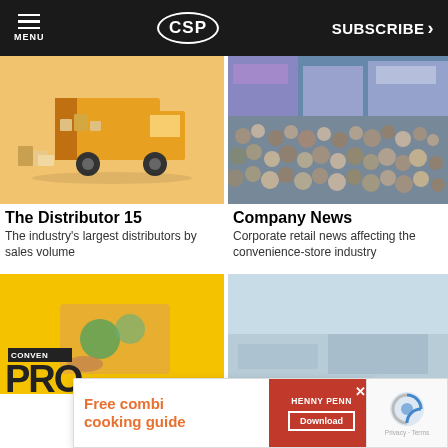MENU | CSP | SUBSCRIBE >
[Figure (photo): 3D illustration of an orange delivery truck with open back and boxes on a light orange background]
The Distributor 15
The industry's largest distributors by sales volume
[Figure (photo): Crowded trade show floor with many business professionals at booths and exhibits]
Company News
Corporate retail news affecting the convenience-store industry
[Figure (photo): Yellow background with CONVEN label and PRO text visible at bottom, with food preparation scene overlaid]
[Figure (photo): Light blue/grey background partially visible]
Free combi cooking guide
HENNY PENN | Download